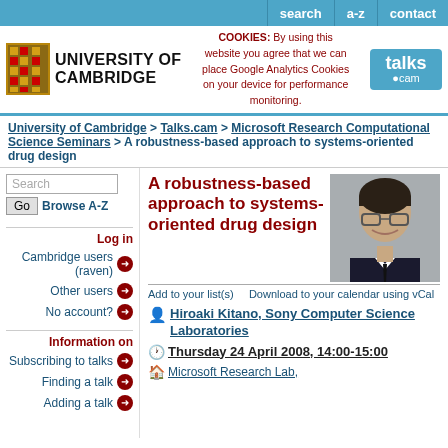search  a-z  contact
[Figure (logo): University of Cambridge crest and name logo, with talks.cam logo and cookie notice]
COOKIES: By using this website you agree that we can place Google Analytics Cookies on your device for performance monitoring.
University of Cambridge > Talks.cam > Microsoft Research Computational Science Seminars > A robustness-based approach to systems-oriented drug design
Search | Go | Browse A-Z
Log in
Cambridge users (raven)
Other users
No account?
Information on
Subscribing to talks
Finding a talk
Adding a talk
A robustness-based approach to systems-oriented drug design
[Figure (photo): Headshot photo of Hiroaki Kitano, Asian man wearing glasses, smiling, in dark suit]
Add to your list(s)   Download to your calendar using vCal
Hiroaki Kitano, Sony Computer Science Laboratories
Thursday 24 April 2008, 14:00-15:00
Microsoft Research Lab,